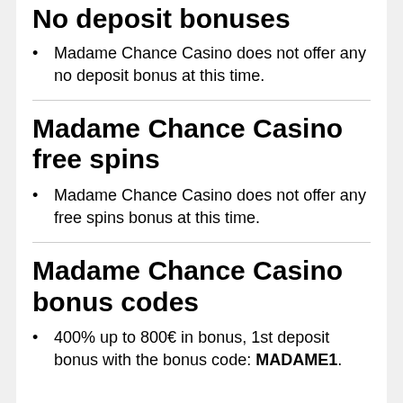No deposit bonuses
Madame Chance Casino does not offer any no deposit bonus at this time.
Madame Chance Casino free spins
Madame Chance Casino does not offer any free spins bonus at this time.
Madame Chance Casino bonus codes
400% up to 800€ in bonus, 1st deposit bonus with the bonus code: MADAME1.